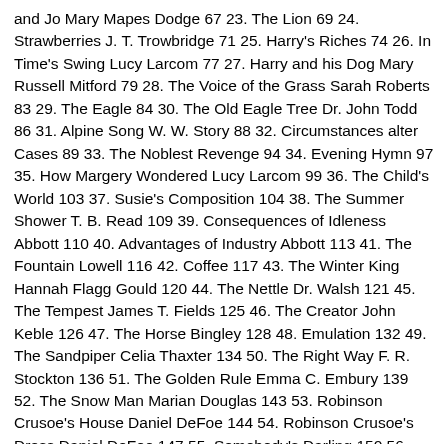and Jo Mary Mapes Dodge 67 23. The Lion 69 24. Strawberries J. T. Trowbridge 71 25. Harry's Riches 74 26. In Time's Swing Lucy Larcom 77 27. Harry and his Dog Mary Russell Mitford 79 28. The Voice of the Grass Sarah Roberts 83 29. The Eagle 84 30. The Old Eagle Tree Dr. John Todd 86 31. Alpine Song W. W. Story 88 32. Circumstances alter Cases 89 33. The Noblest Revenge 94 34. Evening Hymn 97 35. How Margery Wondered Lucy Larcom 99 36. The Child's World 103 37. Susie's Composition 104 38. The Summer Shower T. B. Read 109 39. Consequences of Idleness Abbott 110 40. Advantages of Industry Abbott 113 41. The Fountain Lowell 116 42. Coffee 117 43. The Winter King Hannah Flagg Gould 120 44. The Nettle Dr. Walsh 121 45. The Tempest James T. Fields 125 46. The Creator John Keble 126 47. The Horse Bingley 128 48. Emulation 132 49. The Sandpiper Celia Thaxter 134 50. The Right Way F. R. Stockton 136 51. The Golden Rule Emma C. Embury 139 52. The Snow Man Marian Douglas 143 53. Robinson Crusoe's House Daniel DeFoe 144 54. Robinson Crusoe's Dress Daniel DeFoe 147 55. Somebody's Darling 150 56. Knowledge is Power 151 57. Good Will J. T. Trowbridge 153 58. A Chinese Story C. P. Cranch 156 59. The Way to be Happy 159 60. The Giraffe 162 61. The Lost Child Abbott 165 62. Which? Mrs. E. L. Beers 168 63. The Pet Fawn Miss